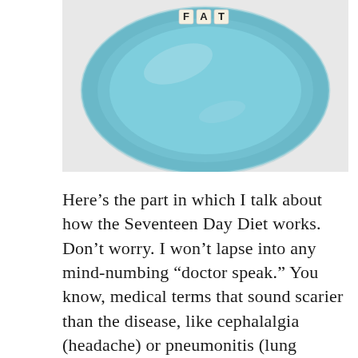[Figure (photo): A light blue ceramic plate on a white background with Scrabble tiles spelling 'FAT' placed in the center top of the plate.]
Here’s the part in which I talk about how the Seventeen Day Diet works. Don’t worry. I won’t lapse into any mind-numbing “doctor speak.” You know, medical terms that sound scarier than the disease, like cephalalgia (headache) or pneumonitis (lung inflammation). Most people have no idea what their doctors are saying. They could be giving them the latest medical research or the recipe for chocolate cheesecake in Latin.